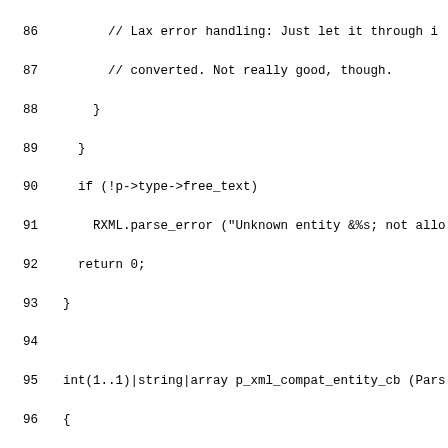Source code listing lines 86-111 showing p_xml_compat_entity_cb function implementation in Pike/C-like language